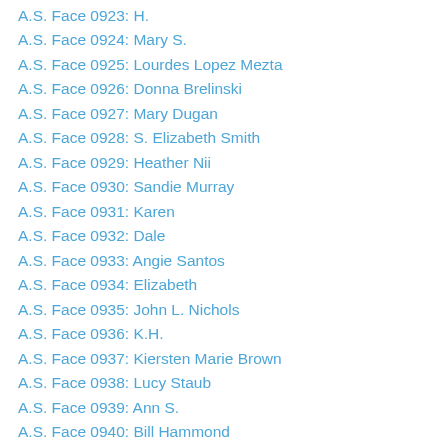A.S. Face 0923: H.
A.S. Face 0924: Mary S.
A.S. Face 0925: Lourdes Lopez Mezta
A.S. Face 0926: Donna Brelinski
A.S. Face 0927: Mary Dugan
A.S. Face 0928: S. Elizabeth Smith
A.S. Face 0929: Heather Nii
A.S. Face 0930: Sandie Murray
A.S. Face 0931: Karen
A.S. Face 0932: Dale
A.S. Face 0933: Angie Santos
A.S. Face 0934: Elizabeth
A.S. Face 0935: John L. Nichols
A.S. Face 0936: K.H.
A.S. Face 0937: Kiersten Marie Brown
A.S. Face 0938: Lucy Staub
A.S. Face 0939: Ann S.
A.S. Face 0940: Bill Hammond
A.S. Face 0941: Jimmy Pope
A.S. Face 0942: Annie